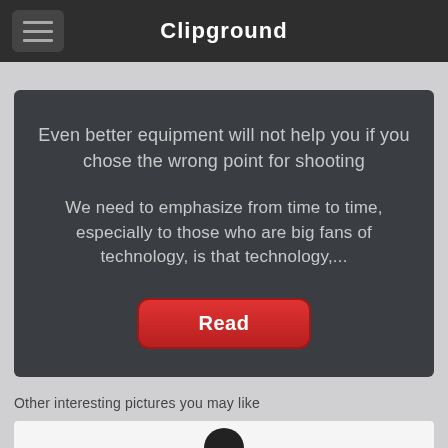Clipground
[Figure (screenshot): Dark card with two paragraphs of text and a red Read button. First paragraph: 'Even better equipment will not help you if you chose the wrong point for shooting'. Second paragraph: 'We need to emphasize from time to time, especially to those who are big fans of technology, is that technology,...'. Red rounded Read button at the bottom.]
Other interesting pictures you may like
[Figure (photo): Thumbnail image partially visible at the bottom of the page showing a dark circular shape on light background]